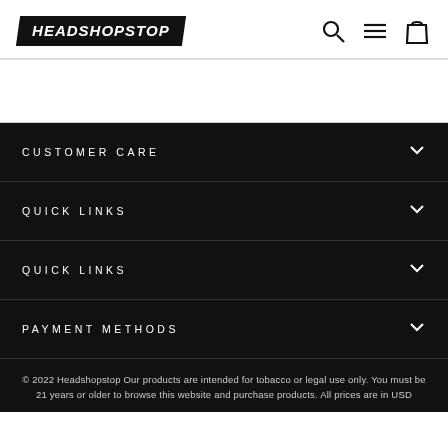HEADSHOPSTOP
CUSTOMER CARE
QUICK LINKS
QUICK LINKS
PAYMENT METHODS
© 2022 Headshopstop Our products are intended for tobacco or legal use only. You must be 21 years or older to browse this website and purchase products. All prices are in USD